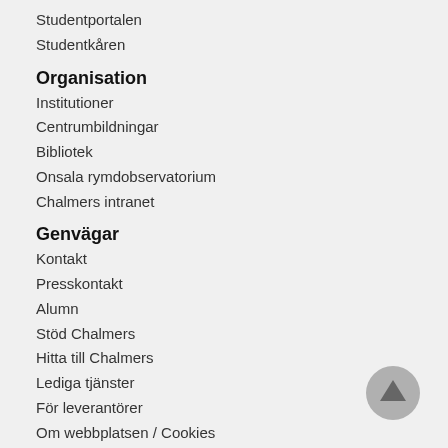Studentportalen
Studentkåren
Organisation
Institutioner
Centrumbildningar
Bibliotek
Onsala rymdobservatorium
Chalmers intranet
Genvägar
Kontakt
Presskontakt
Alumn
Stöd Chalmers
Hitta till Chalmers
Lediga tjänster
För leverantörer
Om webbplatsen / Cookies
Tillgänglighet
Hantering av personuppgifter
Visselblåsning vid Chalmers
[Figure (illustration): Circular grey scroll-to-top button with an upward arrow icon, positioned bottom-right]